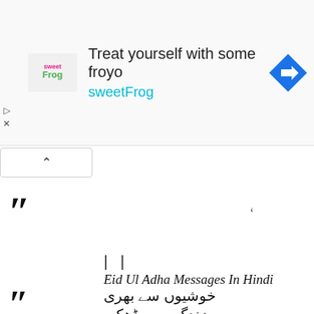[Figure (other): Advertisement banner for sweetFrog frozen yogurt with logo, headline text 'Treat yourself with some froyo', brand name 'sweetFrog', navigation icon, and ad controls (play and close buttons)]
| |
Eid Ul Adha Messages In Hindi
خوشیوں سے بھری
زندگی سے ڈھکی